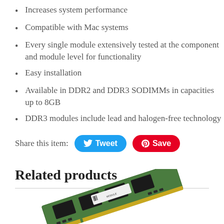Increases system performance
Compatible with Mac systems
Every single module extensively tested at the component and module level for functionality
Easy installation
Available in DDR2 and DDR3 SODIMMs in capacities up to 8GB
DDR3 modules include lead and halogen-free technology
Share this item: Tweet Save
Related products
[Figure (photo): RAM/memory module (SODIMM) shown at an angle against white background, green PCB with black chips and a sticker label]